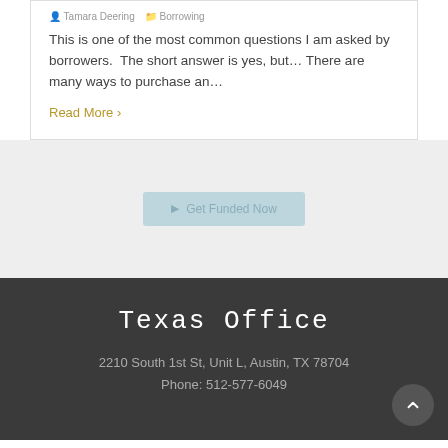Tamara Deering   Borrowing
This is one of the most common questions I am asked by borrowers.  The short answer is yes, but... There are many ways to purchase an...
Read More >
[Figure (other): Get Funded Now button on light gray background]
Texas Office
2210 South 1st St, Unit L, Austin, TX 78704
Phone: 512-577-6049